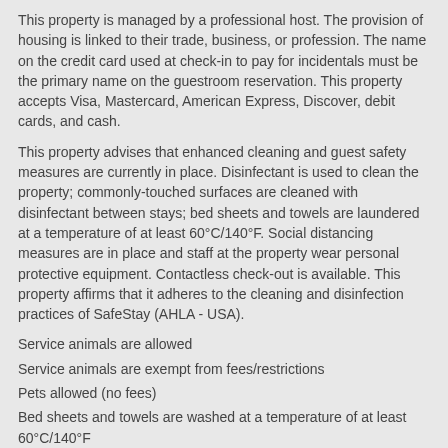This property is managed by a professional host. The provision of housing is linked to their trade, business, or profession. The name on the credit card used at check-in to pay for incidentals must be the primary name on the guestroom reservation. This property accepts Visa, Mastercard, American Express, Discover, debit cards, and cash.
This property advises that enhanced cleaning and guest safety measures are currently in place. Disinfectant is used to clean the property; commonly-touched surfaces are cleaned with disinfectant between stays; bed sheets and towels are laundered at a temperature of at least 60°C/140°F. Social distancing measures are in place and staff at the property wear personal protective equipment. Contactless check-out is available. This property affirms that it adheres to the cleaning and disinfection practices of SafeStay (AHLA - USA).
Service animals are allowed
Service animals are exempt from fees/restrictions
Pets allowed (no fees)
Bed sheets and towels are washed at a temperature of at least 60°C/140°F
Cash or credit card deposit required
Pets cannot be left unattended
Commonly-touched surfaces are cleaned with disinfectant